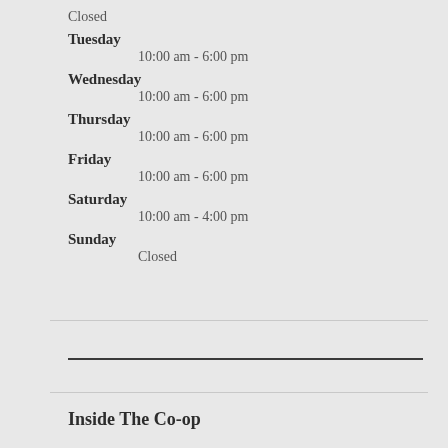Closed
Tuesday
10:00 am - 6:00 pm
Wednesday
10:00 am - 6:00 pm
Thursday
10:00 am - 6:00 pm
Friday
10:00 am - 6:00 pm
Saturday
10:00 am - 4:00 pm
Sunday
Closed
Inside The Co-op